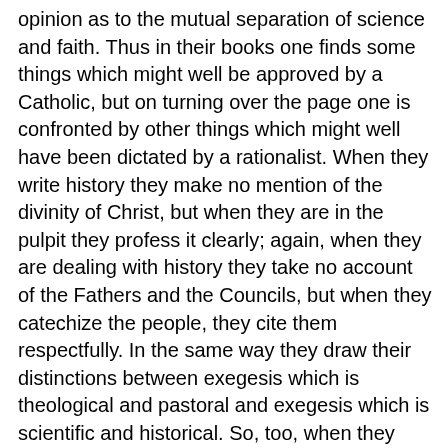opinion as to the mutual separation of science and faith. Thus in their books one finds some things which might well be approved by a Catholic, but on turning over the page one is confronted by other things which might well have been dictated by a rationalist. When they write history they make no mention of the divinity of Christ, but when they are in the pulpit they profess it clearly; again, when they are dealing with history they take no account of the Fathers and the Councils, but when they catechize the people, they cite them respectfully. In the same way they draw their distinctions between exegesis which is theological and pastoral and exegesis which is scientific and historical. So, too, when they treat of philosophy, history, and criticism, acting on the principle that science in no way depends upon faith, they feel no especial horror in treading in the footsteps of Luther¹¹ and are wont to display a manifold contempt for Catholic doctrines, for the Holy Fathers, for the Ecumenical Councils, for the ecclesiastical magisterium; and should they be taken to task for this, they complain that they are being deprived of their liberty. Lastly, maintaining the theory that faith must be subject to science, they continuously and openly rebuke the Church on the ground that she resolutely